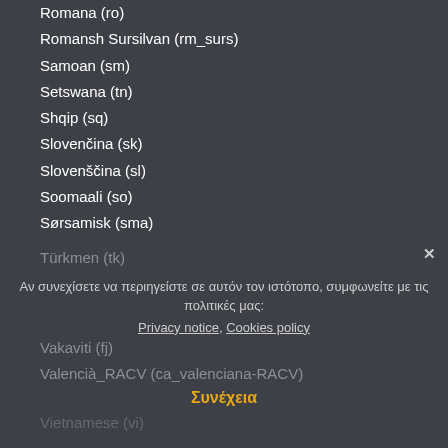Romana (ro)
Romansh Sursilvan (rm_surs)
Samoan (sm)
Setswana (tn)
Shqip (sq)
Slovenčina (sk)
Slovenščina (sl)
Soomaali (so)
Sørsamisk (sma)
Srpski (sr_lt)
Suomi (fi)
Svenska (sv)
Tagalog (tl)
Tamil (ta)
Taqbaylit (kab)
Thai (th)
Tibetan (xct)
Tok Pisin (tpi)
Tongan (to)
Türkçe (tr)
Türkmen (tk)
Vakaviti (fj)
Valencià_RACV (ca_valenciana-RACV)
Vietnamese (vi)
Αν συνεχίσετε να περιηγείστε σε αυτόν τον ιστότοπο, συμφωνείτε με τις πολιτικές μας:
Privacy notice, Cookies policy
Συνέχεια